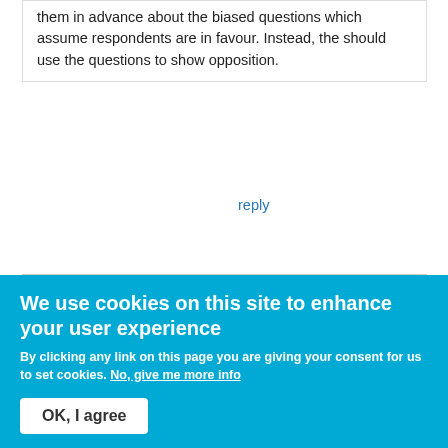them in advance about the biased questions which assume respondents are in favour. Instead, the should use the questions to show opposition.
reply
[Figure (photo): Profile photo of Leah K Stewart performing on stage with red balloons in the background, wearing a dark dress.]
Leah K Stewart
Mon, 19/09/2016 - 10:57
We use cookies on this site to enhance your user experience
By clicking any link on this page you are giving your consent for us to set cookies. No, give me more info
OK, I agree